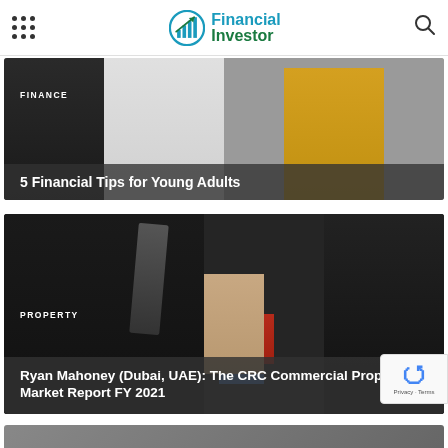Financial Investor – site header with navigation menu icon, logo, and search icon
[Figure (photo): Group of young adults (people standing) with a dark-suited person on the left, white-shirted person in center, and person in yellow sweater on the right. Finance category article thumbnail.]
FINANCE
5 Financial Tips for Young Adults
[Figure (photo): Business man in dark suit pointing with one finger while holding a small house model. Property category article thumbnail.]
PROPERTY
Ryan Mahoney (Dubai, UAE): The CRC Commercial Property Market Report FY 2021
[Figure (photo): Partially visible third article thumbnail image at bottom of page.]